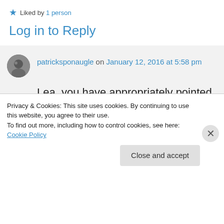★ Liked by 1 person
Log in to Reply
patricksponaugle on January 12, 2016 at 5:58 pm
Lea, you have appropriately pointed out that it's convenient for Theon to regret betraying the Starks under those circumstances. Thank you for keeping me
Privacy & Cookies: This site uses cookies. By continuing to use this website, you agree to their use.
To find out more, including how to control cookies, see here: Cookie Policy
Close and accept